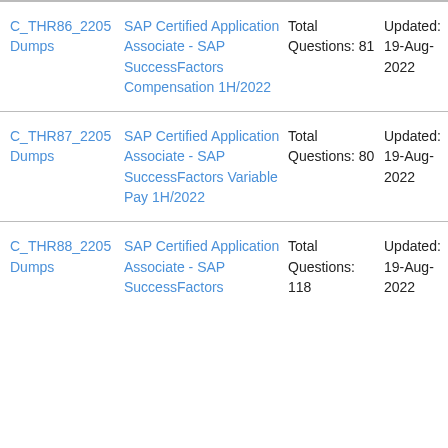| Exam | Description | Questions | Updated | Action |
| --- | --- | --- | --- | --- |
| C_THR86_2205 Dumps | SAP Certified Application Associate - SAP SuccessFactors Compensation 1H/2022 | Total Questions: 81 | Updated: 19-Aug-2022 | Buy Now |
| C_THR87_2205 Dumps | SAP Certified Application Associate - SAP SuccessFactors Variable Pay 1H/2022 | Total Questions: 80 | Updated: 19-Aug-2022 | Buy Now |
| C_THR88_2205 Dumps | SAP Certified Application Associate - SAP SuccessFactors ... | Total Questions: 118 | Updated: 19-Aug-2022 | Buy Now |